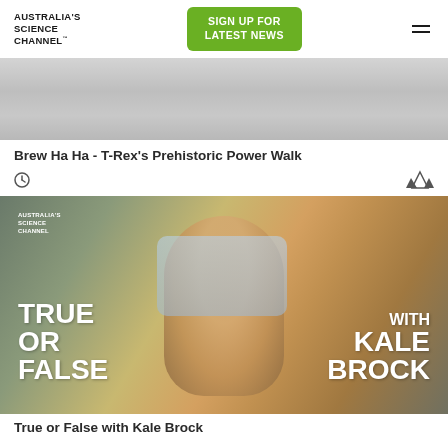AUSTRALIA'S SCIENCE CHANNEL™
[Figure (screenshot): Top partial image of an indoor ceiling/room, gray tiled ceiling visible]
Brew Ha Ha - T-Rex's Prehistoric Power Walk
[Figure (photo): True or False with Kale Brock thumbnail - smiling man in blue shirt at a cafe with Australia's Science Channel branding overlay]
True or False with Kale Brock